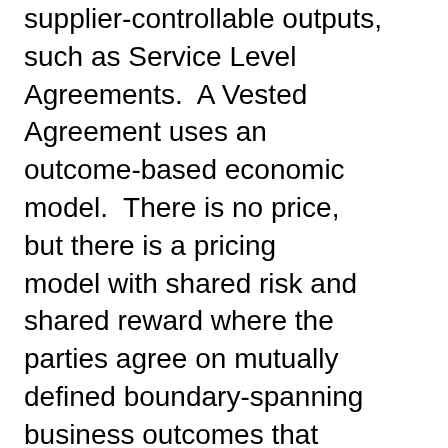supplier-controllable outputs, such as Service Level Agreements.  A Vested Agreement uses an outcome-based economic model.  There is no price, but there is a pricing model with shared risk and shared reward where the parties agree on mutually defined boundary-spanning business outcomes that are much broader than SLAs and typically cannot be achieved by just the supplier (unlike SLAs).

So, what does the economic model have to do with the shared vision?  Everything because the shared vision should be based on the purpose of the relationship, effectively delivering